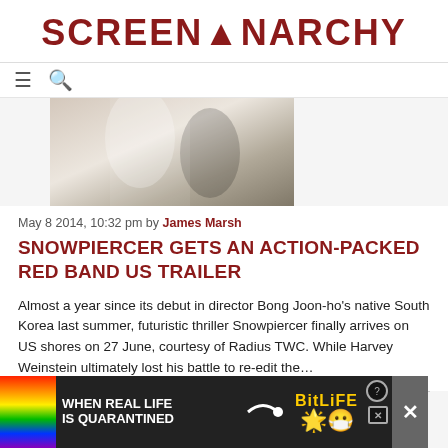SCREENANARCHY
[Figure (screenshot): Navigation bar with hamburger menu and search icons]
[Figure (photo): Grayscale/sepia action photo, partially visible, showing figures in dramatic lighting]
May 8 2014, 10:32 pm by James Marsh
SNOWPIERCER Gets An Action-Packed Red Band US Trailer
Almost a year since its debut in director Bong Joon-ho’s native South Korea last summer, futuristic thriller Snowpiercer finally arrives on US shores on 27 June, courtesy of Radius TWC. While Harvey Weinstein ultimately lost his battle to re-edit the…
[Figure (photo): Partially visible movie poster or article image at bottom]
[Figure (infographic): BitLife advertisement banner: rainbow strip, text WHEN REAL LIFE IS QUARANTINED, BitLife logo with emoji characters, close and dismiss buttons]